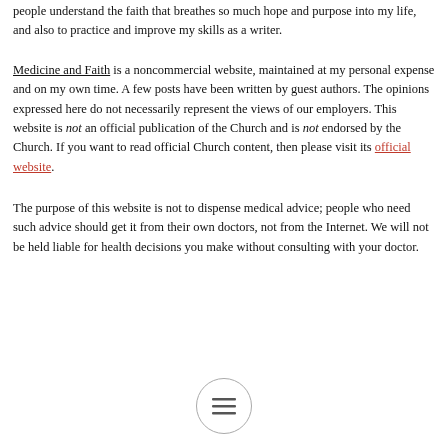people understand the faith that breathes so much hope and purpose into my life, and also to practice and improve my skills as a writer.
Medicine and Faith is a noncommercial website, maintained at my personal expense and on my own time. A few posts have been written by guest authors. The opinions expressed here do not necessarily represent the views of our employers. This website is not an official publication of the Church and is not endorsed by the Church. If you want to read official Church content, then please visit its official website.
The purpose of this website is not to dispense medical advice; people who need such advice should get it from their own doctors, not from the Internet. We will not be held liable for health decisions you make without consulting with your doctor.
[Figure (other): Circular menu button with three horizontal lines (hamburger icon) overlapping the bottom of the text]